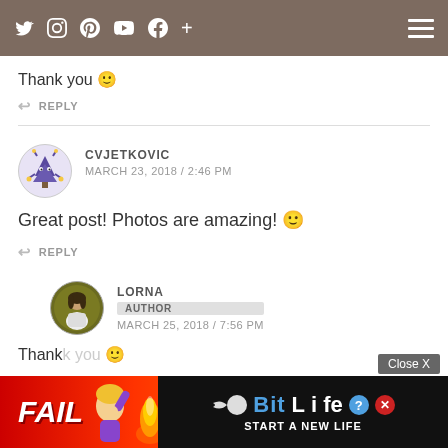Navigation bar with social icons and hamburger menu
Thank you 🙂
↩ REPLY
CVJETKOVIC
MARCH 23, 2018 / 2:46 PM
Great post! Photos are amazing! 🙂
↩ REPLY
LORNA
AUTHOR
MARCH 25, 2018 / 7:56 PM
Thank you 🙂
↩ REP
[Figure (screenshot): Advertisement banner: BitLife - Start a New Life game ad with FAIL text and cartoon character]